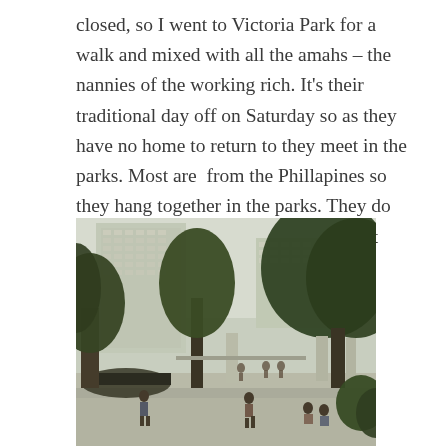closed, so I went to Victoria Park for a walk and mixed with all the amahs – the nannies of the working rich. It's their traditional day off on Saturday so as they have no home to return to they meet in the parks. Most are from the Phillapines so they hang together in the parks. They do each other's hair, paint nails, laugh, eat buns of some description, it's so interesting to watch.
[Figure (photo): Outdoor park scene with large trees in the foreground, tall multi-story buildings in the background, and people sitting and walking in the park. The image has a slightly desaturated, overcast look.]